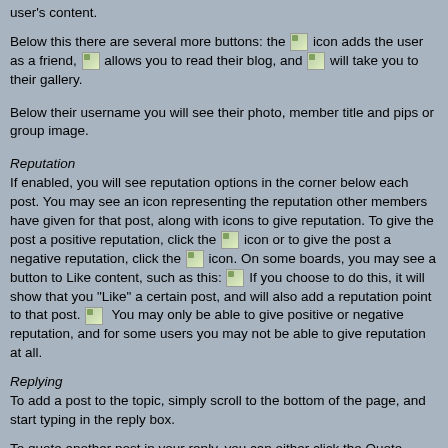user's content.
Below this there are several more buttons: the [icon] icon adds the user as a friend, [icon] allows you to read their blog, and [icon] will take you to their gallery.
Below their username you will see their photo, member title and pips or group image.
Reputation
If enabled, you will see reputation options in the corner below each post. You may see an icon representing the reputation other members have given for that post, along with icons to give reputation. To give the post a positive reputation, click the [icon] icon or to give the post a negative reputation, click the [icon] icon. On some boards, you may see a button to Like content, such as this: [icon] If you choose to do this, it will show that you "Like" a certain post, and will also add a reputation point to that post. [icon] You may only be able to give positive or negative reputation, and for some users you may not be able to give reputation at all.
Replying
To add a post to the topic, simply scroll to the bottom of the page, and start typing in the reply box.
To quote another post in your reply, you can either click the Quote button beneath a post, or use the multiquote feature. Multiquote is used when you want to quote more than one post in your reply. Select the Multiquote button underneath the posts you want to quote, and you will notice that the